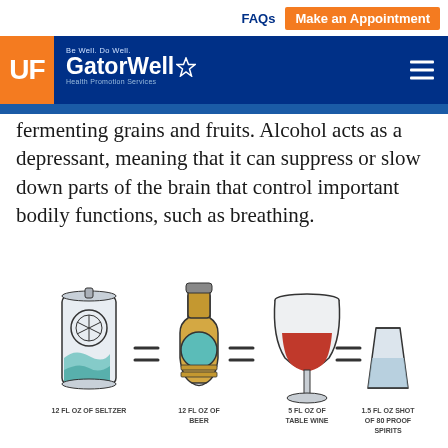FAQs  Make an Appointment
[Figure (logo): UF GatorWell Health Promotion Services logo on blue navigation bar with hamburger menu]
fermenting grains and fruits. Alcohol acts as a depressant, meaning that it can suppress or slow down parts of the brain that control important bodily functions, such as breathing.
[Figure (infographic): Infographic showing standard drink equivalents: 12 fl oz of seltzer = 12 fl oz of beer = 5 fl oz of table wine = 1.5 fl oz shot of 80 proof spirits, illustrated with cartoon drawings of each drink container]